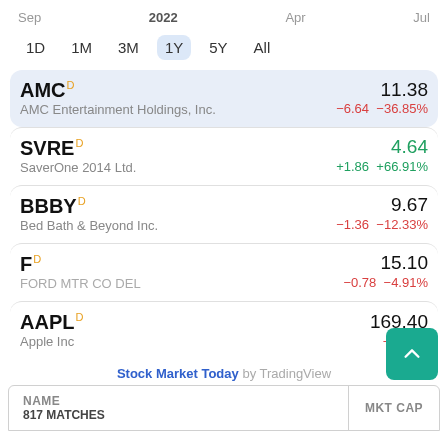Sep  2022  Apr  Jul
1D  1M  3M  1Y  5Y  All
| Ticker / Name | Price | Change |
| --- | --- | --- |
| AMC D / AMC Entertainment Holdings, Inc. | 11.38 | −6.64  −36.85% |
| SVRE D / SaverOne 2014 Ltd. | 4.64 | +1.86  +66.91% |
| BBBY D / Bed Bath & Beyond Inc. | 9.67 | −1.36  −12.33% |
| F D / FORD MTR CO DEL | 15.10 | −0.78  −4.91% |
| AAPL D / Apple Inc | 169.40 | −2…  …4· |
Stock Market Today by TradingView
| NAME
817 MATCHES | MKT CAP |
| --- | --- |